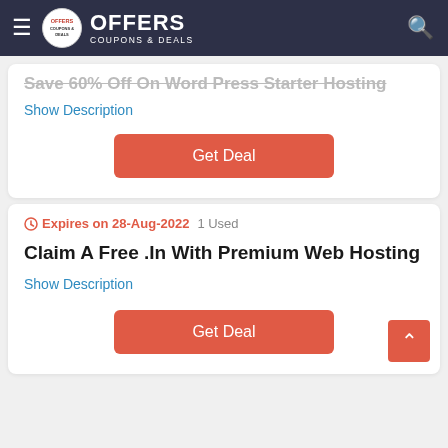OFFERS COUPONS & DEALS
Save 60% Off On Word Press Starter Hosting
Show Description
Get Deal
Expires on 28-Aug-2022   1 Used
Claim A Free .In With Premium Web Hosting
Show Description
Get Deal